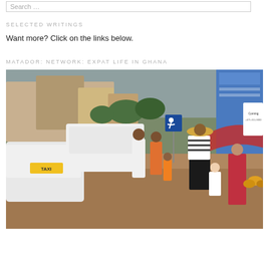Search …
SELECTED WRITINGS
Want more? Click on the links below.
MATADOR: NETWORK: EXPAT LIFE IN GHANA
[Figure (photo): Street scene in Ghana showing pedestrians walking along a busy road with taxis and other vehicles. A woman in a striped shirt wearing a straw hat walks with a child in a white shirt. An African man in a white outfit with red embroidery walks toward the camera. Market stalls and colorful billboards are visible in the background.]